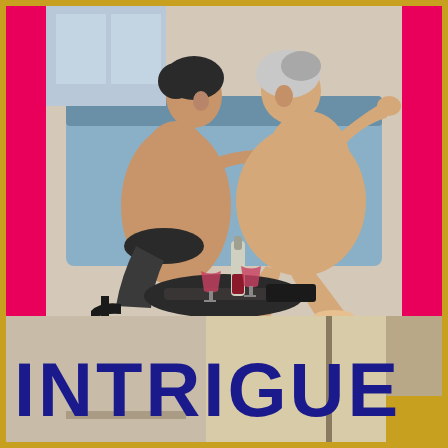[Figure (illustration): Vintage adult paperback book cover illustration showing two nude women in an intimate pose, with wine bottle, glass, and high heels in the foreground. Hot pink background panels flank a central scene with blue couch/bed. Painted in a classic pulp fiction illustration style.]
INTRIGUE